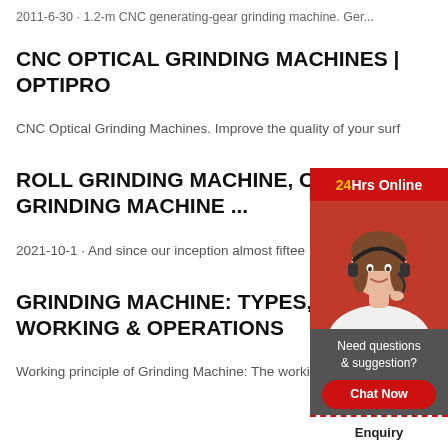2011-6-30 · 1.2-m CNC generating-gear grinding machine. Ger...
CNC OPTICAL GRINDING MACHINES | OPTIPRO
CNC Optical Grinding Machines. Improve the quality of your surf
ROLL GRINDING MACHINE, CENT GRINDING MACHINE ...
2021-10-1 · And since our inception almost fiftee
GRINDING MACHINE: TYPES, PAR WORKING & OPERATIONS
Working principle of Grinding Machine: The worki
[Figure (photo): Chat widget with a woman wearing a headset. Shows '24Hrs Online' header in red, photo of female customer support agent, 'Need questions & suggestion?' text with 'Chat Now' button, 'Enquiry' link, and 'limingjlmofen' footer.]